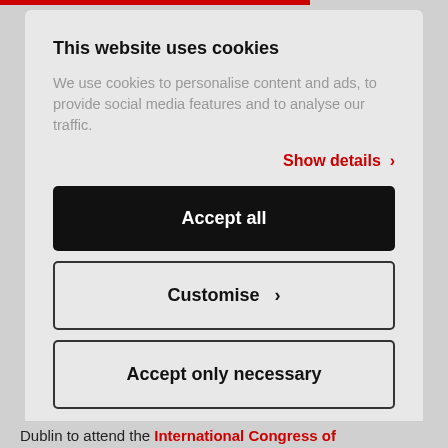This website uses cookies
We use cookies to personalise content and ads, to provide social media features and to analyse our traffic.
Show details ›
Accept all
Customise ›
Accept only necessary
Dublin to attend the International Congress of